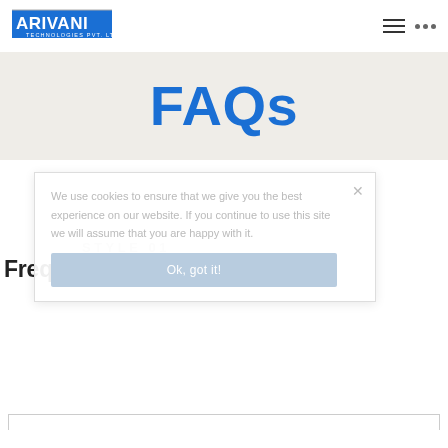[Figure (logo): Arivani Technologies Pvt. Ltd. logo with blue background and white text]
FAQs
We use cookies to ensure that we give you the best experience on our website. If you continue to use this site we will assume that you are happy with it.
STYLE 01
Frequently asked questions
Ok, got it!